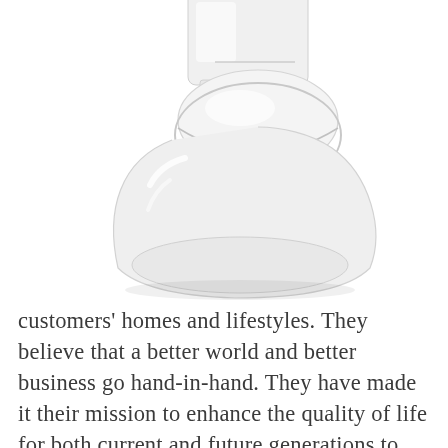[Figure (photo): A modern white ceramic toilet (bowl and partial tank visible) photographed from a slightly elevated angle against a white background, showing a one-piece or close-coupled toilet with a rounded bowl and closed white seat lid.]
customers' homes and lifestyles. They believe that a better world and better business go hand-in-hand. They have made it their mission to enhance the quality of life for both current and future generations to